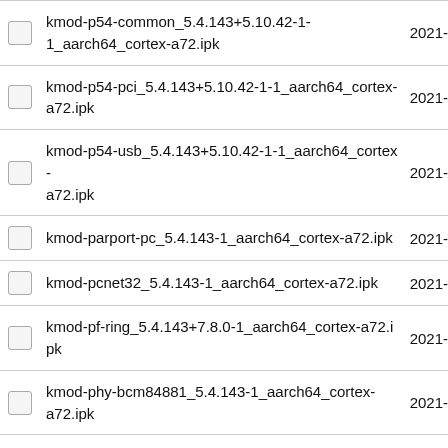kmod-p54-common_5.4.143+5.10.42-1-1_aarch64_cortex-a72.ipk 2021-
kmod-p54-pci_5.4.143+5.10.42-1-1_aarch64_cortex-a72.ipk 2021-
kmod-p54-usb_5.4.143+5.10.42-1-1_aarch64_cortex-a72.ipk 2021-
kmod-parport-pc_5.4.143-1_aarch64_cortex-a72.ipk 2021-
kmod-pcnet32_5.4.143-1_aarch64_cortex-a72.ipk 2021-
kmod-pf-ring_5.4.143+7.8.0-1_aarch64_cortex-a72.ipk 2021-
kmod-phy-bcm84881_5.4.143-1_aarch64_cortex-a72.ipk 2021-
kmod-phy-broadcom_5.4.143-1_aarch64_cortex-a72.ipk 2021-